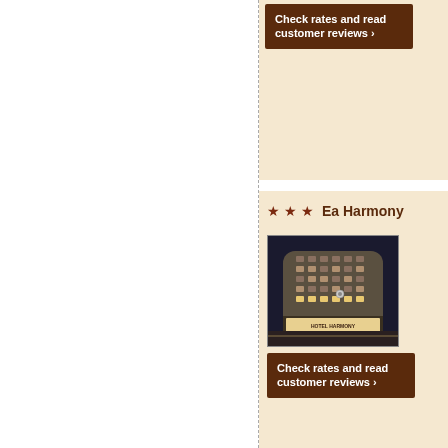[Figure (other): Partially visible hotel listing card with 'Check rates and read customer reviews' button on cream background]
Check rates and read customer reviews ›
[Figure (other): Hotel listing card for Ea Harmony (3-star) with photo of hotel building at night and 'Check rates and read customer reviews' button]
★ ★ ★  Ea Harmony
[Figure (photo): Nighttime photo of Hotel Harmony building - a rounded multi-story building with illuminated windows and 'HOTEL HARMONY' sign visible]
Check rates and read customer reviews ›